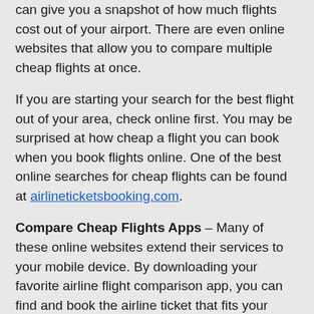can give you a snapshot of how much flights cost out of your airport. There are even online websites that allow you to compare multiple cheap flights at once.
If you are starting your search for the best flight out of your area, check online first. You may be surprised at how cheap a flight you can book when you book flights online. One of the best online searches for cheap flights can be found at airlineticketsbooking.com.
Compare Cheap Flights Apps – Many of these online websites extend their services to your mobile device. By downloading your favorite airline flight comparison app, you can find and book the airline ticket that fits your budget.
These cheap flight comparison apps are often free and don't cost you a dime. These apps empower you to find the best deal on airline tickets no matter where you live or where you are going. If you don't find an app that